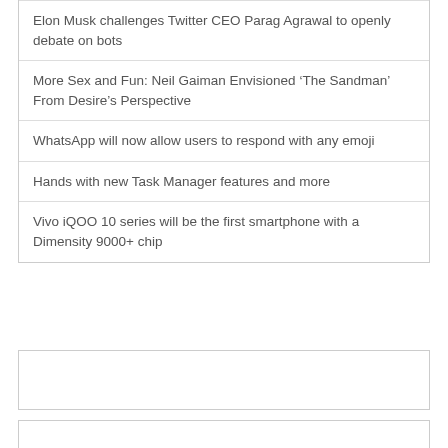Elon Musk challenges Twitter CEO Parag Agrawal to openly debate on bots
More Sex and Fun: Neil Gaiman Envisioned ‘The Sandman’ From Desire’s Perspective
WhatsApp will now allow users to respond with any emoji
Hands with new Task Manager features and more
Vivo iQOO 10 series will be the first smartphone with a Dimensity 9000+ chip